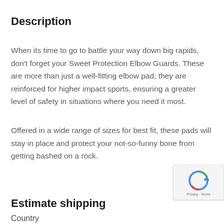Description
When its time to go to battle your way down big rapids, don't forget your Sweet Protection Elbow Guards. These are more than just a well-fitting elbow pad; they are reinforced for higher impact sports, ensuring a greater level of safety in situations where you need it most.
Offered in a wide range of sizes for best fit, these pads will stay in place and protect your not-so-funny bone from getting bashed on a rock.
Estimate shipping
Country